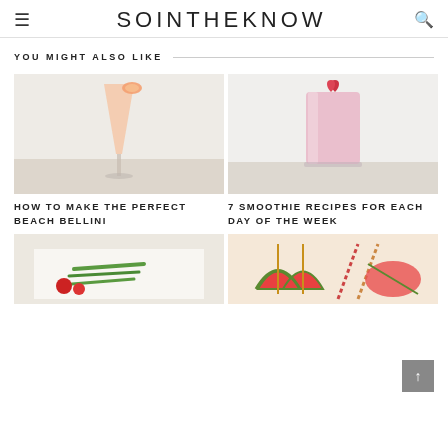SOINTHEKNOW
YOU MIGHT ALSO LIKE
[Figure (photo): A peach-colored bellini cocktail in a champagne flute with a grapefruit slice garnish on a light background]
HOW TO MAKE THE PERFECT BEACH BELLINI
[Figure (photo): A pink smoothie in a tall glass garnished with a strawberry heart shape on top]
7 SMOOTHIE RECIPES FOR EACH DAY OF THE WEEK
[Figure (photo): Vegetables including green beans and tomatoes arranged on a white plate]
[Figure (photo): Watermelon skewers with striped straws on a cutting board]